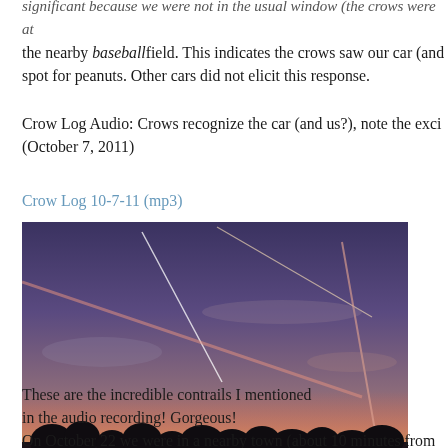significant because we were not in the usual window (the crows were at the nearby baseballfield. This indicates the crows saw our car (and spot for peanuts. Other cars did not elicit this response.
Crow Log Audio: Crows recognize the car (and us?), note the exci (October 7, 2011)
Crow Log 10-7-11 (mp3)
[Figure (photo): Sunset sky with dramatic contrails (airplane vapor trails) streaking across in multiple directions, illuminated in pink and orange tones against a blue-purple sky, with dark silhouetted trees at the bottom.]
These are the incredible contrails I mentioned in the audio recording! Gorgeous!
On October 22 we were in a nearby town (about 10 minutes from the